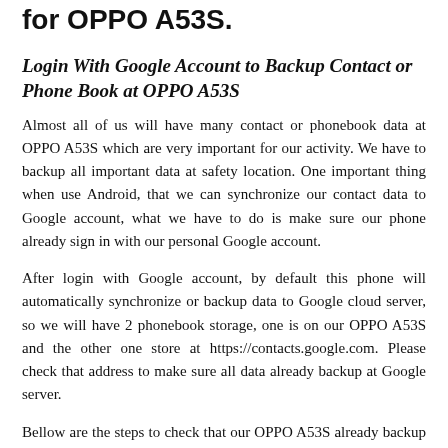for OPPO A53S.
Login With Google Account to Backup Contact or Phone Book at OPPO A53S
Almost all of us will have many contact or phonebook data at OPPO A53S which are very important for our activity. We have to backup all important data at safety location. One important thing when use Android, that we can synchronize our contact data to Google account, what we have to do is make sure our phone already sign in with our personal Google account.
After login with Google account, by default this phone will automatically synchronize or backup data to Google cloud server, so we will have 2 phonebook storage, one is on our OPPO A53S and the other one store at https://contacts.google.com. Please check that address to make sure all data already backup at Google server.
Bellow are the steps to check that our OPPO A53S already backup to Google cloud server: